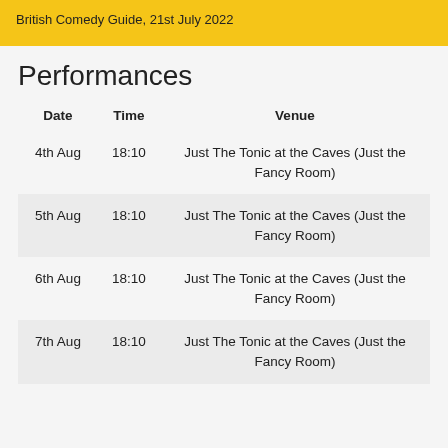British Comedy Guide, 21st July 2022
Performances
| Date | Time | Venue |
| --- | --- | --- |
| 4th Aug | 18:10 | Just The Tonic at the Caves (Just the Fancy Room) |
| 5th Aug | 18:10 | Just The Tonic at the Caves (Just the Fancy Room) |
| 6th Aug | 18:10 | Just The Tonic at the Caves (Just the Fancy Room) |
| 7th Aug | 18:10 | Just The Tonic at the Caves (Just the Fancy Room) |